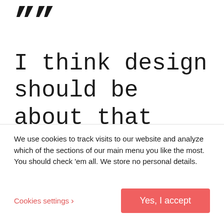””
I think design should be about that skill or facility to improve the quality of life, and I would like to
We use cookies to track visits to our website and analyze which of the sections of our main menu you like the most. You should check ’em all. We store no personal details.
Cookies settings ›
Yes, I accept